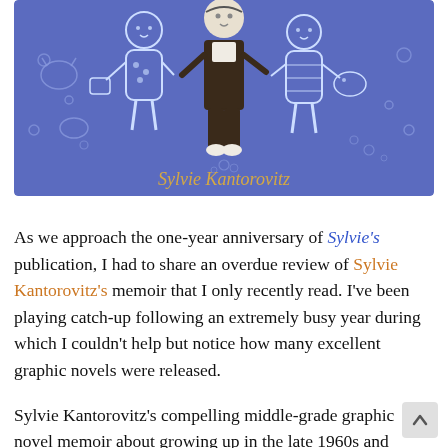[Figure (illustration): Book cover with purple/blue background showing illustrated children and adult figures in a cartoon style. Author name 'Sylvie Kantorovitz' displayed in gold italic text at the bottom of the cover.]
As we approach the one-year anniversary of Sylvie's publication, I had to share an overdue review of Sylvie Kantorovitz's memoir that I only recently read. I've been playing catch-up following an extremely busy year during which I couldn't help but notice how many excellent graphic novels were released.
Sylvie Kantorovitz's compelling middle-grade graphic novel memoir about growing up in the late 1960s and 1970s France was just the book I needed to read last week. It didn't hurt that I'm a